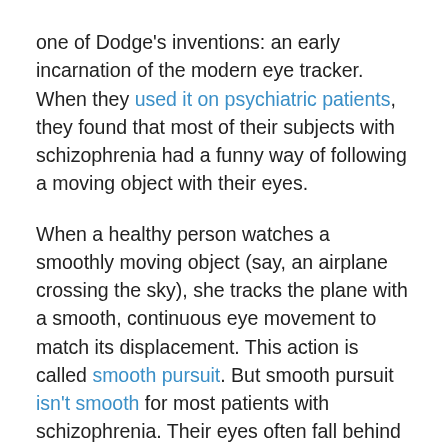one of Dodge's inventions: an early incarnation of the modern eye tracker. When they used it on psychiatric patients, they found that most of their subjects with schizophrenia had a funny way of following a moving object with their eyes.
When a healthy person watches a smoothly moving object (say, an airplane crossing the sky), she tracks the plane with a smooth, continuous eye movement to match its displacement. This action is called smooth pursuit. But smooth pursuit isn't smooth for most patients with schizophrenia. Their eyes often fall behind and they make a series of quick, tiny jerks to catch up or even dart ahead of their target. For the better part of a century, this movement pattern would remain a mystery. But in recent decades, scientific discoveries have led to a better